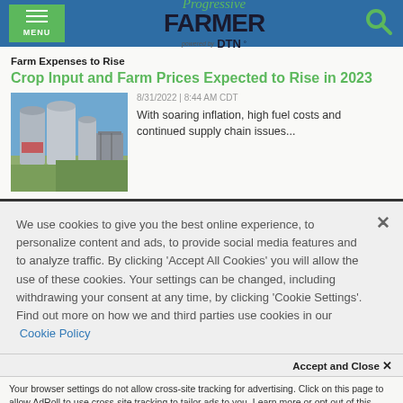Progressive FARMER powered by DTN
Farm Expenses to Rise
Crop Input and Farm Prices Expected to Rise in 2023
[Figure (photo): Photograph of farm grain silos and agricultural buildings outdoors]
8/31/2022 | 8:44 AM CDT
With soaring inflation, high fuel costs and continued supply chain issues...
We use cookies to give you the best online experience, to personalize content and ads, to provide social media features and to analyze traffic. By clicking 'Accept All Cookies' you will allow the use of these cookies. Your settings can be changed, including withdrawing your consent at any time, by clicking 'Cookie Settings'. Find out more on how we and third parties use cookies in our  Cookie Policy
Accept and Close ×
Your browser settings do not allow cross-site tracking for advertising. Click on this page to allow AdRoll to use cross-site tracking to tailor ads to you. Learn more or opt out of this AdRoll tracking by clicking here. This message only appears once.